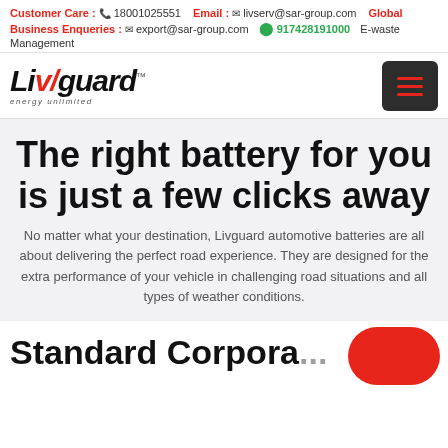Customer Care : 18001025551  Email : livserv@sar-group.com  Global Business Enqueries : export@sar-group.com  917428191000  E-waste Management
[Figure (logo): Livguard logo with italic bold text and red slash mark, tagline 'energy unlimited']
The right battery for you is just a few clicks away
No matter what your destination, Livguard automotive batteries are all about delivering the perfect road experience. They are designed for the extra performance of your vehicle in challenging road situations and all types of weather conditions.
Standard Corpora...